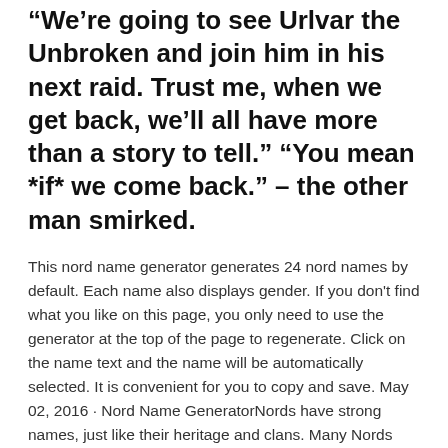“We’re going to see Urlvar the Unbroken and join him in his next raid. Trust me, when we get back, we’ll all have more than a story to tell.” “You mean *if* we come back.” – the other man smirked.
This nord name generator generates 24 nord names by default. Each name also displays gender. If you don't find what you like on this page, you only need to use the generator at the top of the page to regenerate. Click on the name text and the name will be automatically selected. It is convenient for you to copy and save. May 02, 2016 · Nord Name GeneratorNords have strong names, just like their heritage and clans. Many Nords have a title or clan name or both. Their clan or title may come Nord Name Generator is designed to be easy to use. But if you're stuck, here's a step-by-step guide to using our Nord name generator: First click on the Nord Name Generator; Start